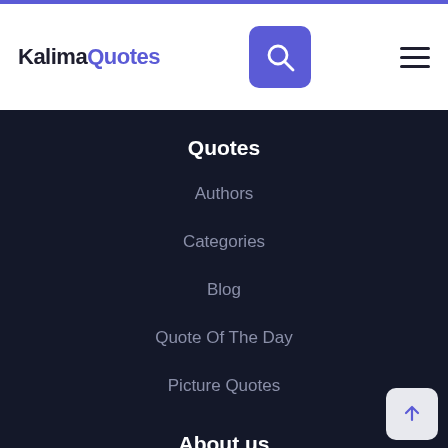KalimaQuotes
Quotes
Authors
Categories
Blog
Quote Of The Day
Picture Quotes
About us